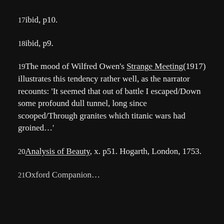17ibid, p10.
18ibid, p9.
19The mood of Wilfred Owen's Strange Meeting(1917) illustrates this tendency rather well, as the narrator recounts: 'It seemed that out of battle I escaped/Down some profound dull tunnel, long since scooped/Through granites which titanic wars had groined…'
20Analysis of Beauty, x. p51. Hogarth, London, 1753.
21Oxford Companion…